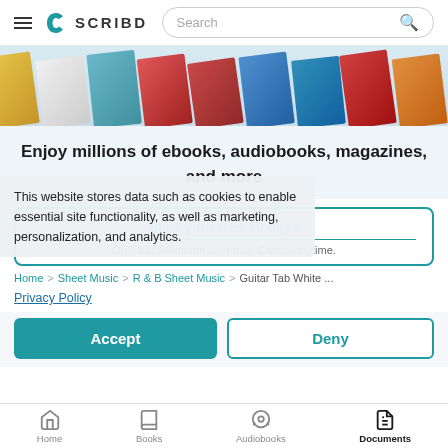SCRIBD — Search
[Figure (screenshot): Row of angled book covers in a horizontal strip]
Enjoy millions of ebooks, audiobooks, magazines, and more
Start your free 30 days
Only $11.99/month after trial. Cancel anytime.
This website stores data such as cookies to enable essential site functionality, as well as marketing, personalization, and analytics.
Home > Sheet Music > R & B Sheet Music > Guitar Tab White ...
Privacy Policy
Accept
Deny
Home   Books   Audiobooks   Documents